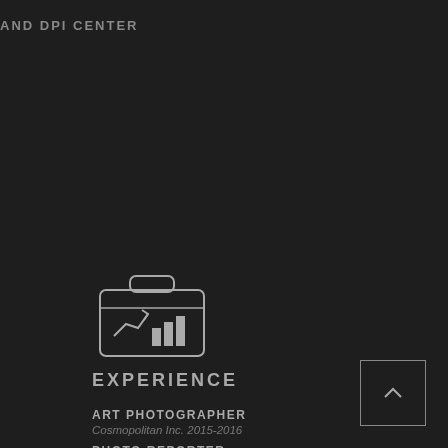AND DPI CENTER
[Figure (illustration): Briefcase icon with a line chart and bar chart inside, drawn in outline style in gray]
EXPERIENCE
ART PHOTOGRAPHER
Cosmopolitan Inc. 2015-2016
PHOTO REPORTER
Times Inc. 2016-2018